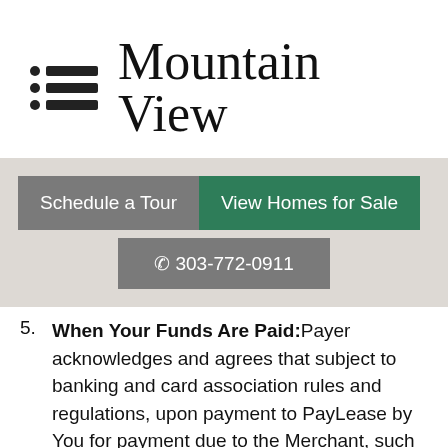Mountain View
[Figure (other): Menu/hamburger icon with three dot-line rows]
[Figure (screenshot): Navigation buttons: Schedule a Tour (gray), View Homes for Sale (green), and phone number 303-772-0911 (gray) on a light beige background]
5. When Your Funds Are Paid: Payer acknowledges and agrees that subject to banking and card association rules and regulations, upon payment to PayLease by You for payment due to the Merchant, such payment obligation to the Merchant is considered paid and extinguished.  Payment is deemed made by You at the time at which